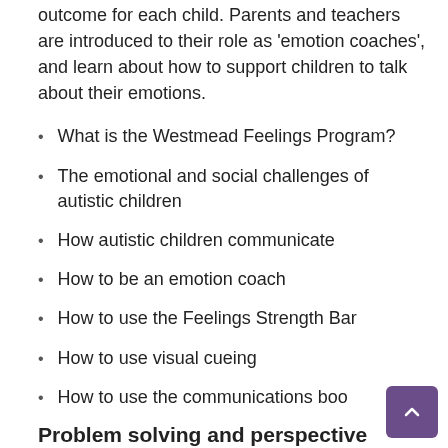outcome for each child. Parents and teachers are introduced to their role as 'emotion coaches', and learn about how to support children to talk about their emotions.
What is the Westmead Feelings Program?
The emotional and social challenges of autistic children
How autistic children communicate
How to be an emotion coach
How to use the Feelings Strength Bar
How to use visual cueing
How to use the communications boo
Problem solving and perspective